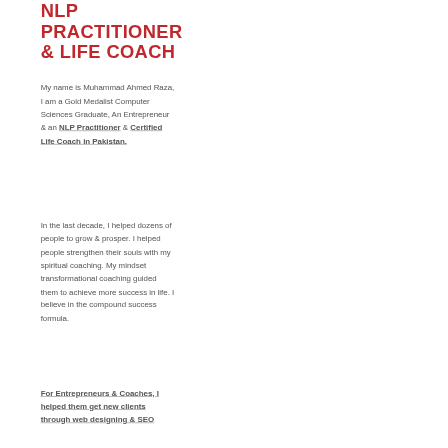NLP PRACTITIONER & LIFE COACH
My name is Muhammad Ahmed Raza, I am a Gold Medalist Computer Sciences Graduate, An Entrepreneur & an NLP Practitioner & Certified Life Coach in Pakistan.
In the last decade, I helped dozens of people to grow & prosper. I helped people strengthen their souls with my spiritual coaching. My mindset transformational coaching guided them to achieve more success in life. I believe in the compound success formula.
For Entrepreneurs & Coaches, I helped them get new clients through web designing & SEO